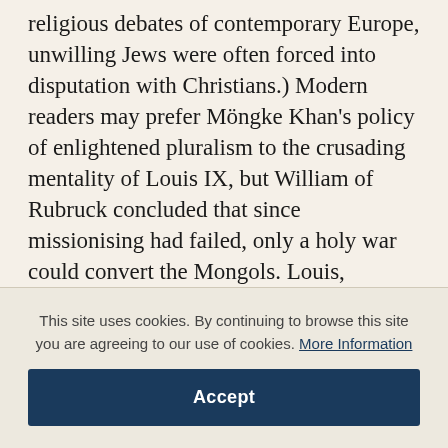religious debates of contemporary Europe, unwilling Jews were often forced into disputation with Christians.) Modern readers may prefer Möngke Khan's policy of enlightened pluralism to the crusading mentality of Louis IX, but William of Rubruck concluded that since missionising had failed, only a holy war could convert the Mongols. Louis, however, had just been ransomed after a crushing defeat in Egypt and declined to pursue that venture.
This site uses cookies. By continuing to browse this site you are agreeing to our use of cookies. More Information
Accept